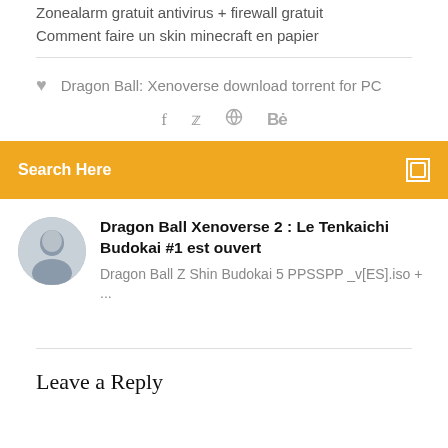Zonealarm gratuit antivirus + firewall gratuit
Comment faire un skin minecraft en papier
Dragon Ball: Xenoverse download torrent for PC
f  y  ⊗  Bē
Search Here
Dragon Ball Xenoverse 2 : Le Tenkaichi Budokai #1 est ouvert
Dragon Ball Z Shin Budokai 5 PPSSPP _v[ES].iso + ...
Leave a Reply